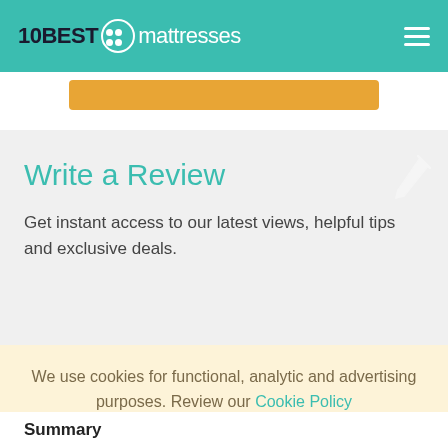10BEST mattresses
[Figure (other): Orange button strip partially visible below header]
Write a Review
Get instant access to our latest views, helpful tips and exclusive deals.
We use cookies for functional, analytic and advertising purposes. Review our Cookie Policy
Got it
Summary